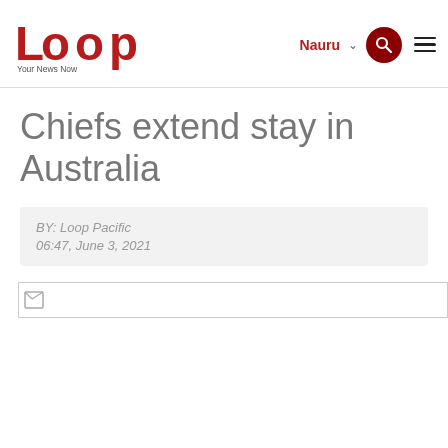Loop Your News Now — Nauru
Chiefs extend stay in Australia
BY: Loop Pacific
06:47, June 3, 2021
[Figure (photo): Article image placeholder (broken image icon visible)]